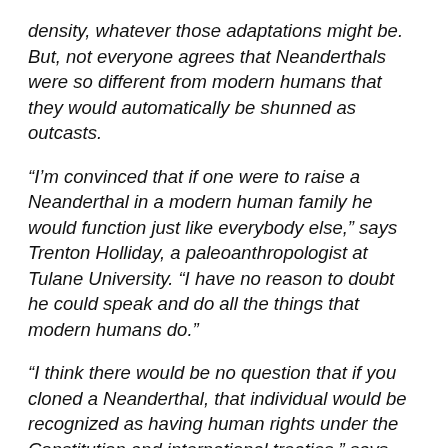density, whatever those adaptations might be. But, not everyone agrees that Neanderthals were so different from modern humans that they would automatically be shunned as outcasts.
“I’m convinced that if one were to raise a Neanderthal in a modern human family he would function just like everybody else,” says Trenton Holliday, a paleoanthropologist at Tulane University. “I have no reason to doubt he could speak and do all the things that modern humans do.”
“I think there would be no question that if you cloned a Neanderthal, that individual would be recognized as having human rights under the Constitution and international treaties,” says Lori Andrews, a professor at Chicago-Kent College of Law. The law does not define